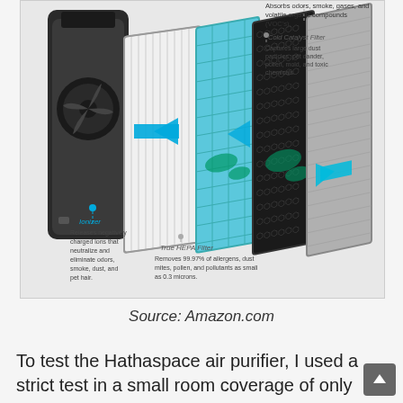[Figure (infographic): Exploded diagram of a Hathaspace air purifier showing multiple filter layers with labeled callouts: Ionizer (releases negatively charged ions that neutralize and eliminate odors, smoke, dust, and pet hair), True HEPA Filter (Removes 99.97% of allergens, dust mites, pollen, and pollutants as small as 0.3 microns), Cold Catalyst Filter (Captures large dust particles, pet dander, pollen, mold, and toxic chemicals), and a top callout about absorbing odors, smoke, gases, and volatile organic compounds (VOC's). Blue arrows show air flow direction through the filters.]
Source: Amazon.com
To test the Hathaspace air purifier, I used a strict test in a small room coverage of only 100